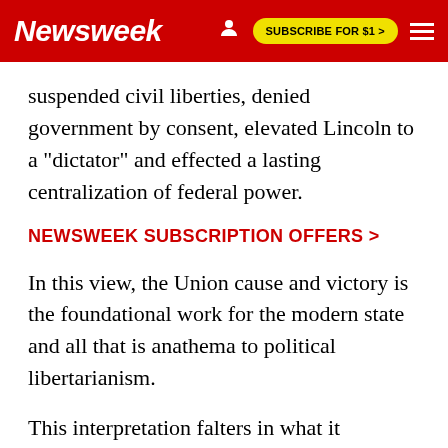Newsweek | SUBSCRIBE FOR $1 >
suspended civil liberties, denied government by consent, elevated Lincoln to a "dictator" and effected a lasting centralization of federal power.
NEWSWEEK SUBSCRIPTION OFFERS >
In this view, the Union cause and victory is the foundational work for the modern state and all that is anathema to political libertarianism.
This interpretation falters in what it neglects: slavery.